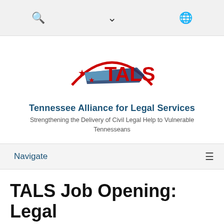[Figure (logo): TALS logo with Tennessee state outline, stars, and red arc above text TALS]
Tennessee Alliance for Legal Services
Strengthening the Delivery of Civil Legal Help to Vulnerable Tennesseans
Navigate
TALS Job Opening: Legal Information Line Staff Attorney